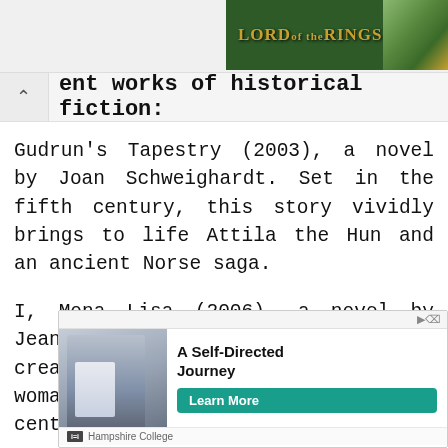[Figure (other): Top-right advertisement banner for Lord of the Rings with green background and golden text]
ent works of historical fiction:
Gudrun's Tapestry (2003), a novel by Joan Schweighardt. Set in the fifth century, this story vividly brings to life Attila the Hun and an ancient Norse saga.
I, Mona Lisa (2006), a novel by Jeanne Kalogridis. The author creates the life of a young woman in fifteenth-century
[Figure (other): Advertisement for Hampshire College featuring a person in a lab coat with text 'A Self-Directed Journey' and a 'Learn More' button]